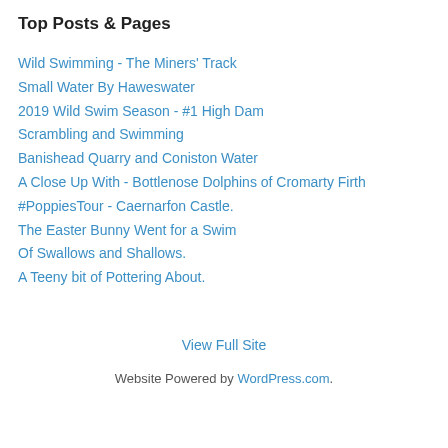Top Posts & Pages
Wild Swimming - The Miners' Track
Small Water By Haweswater
2019 Wild Swim Season - #1 High Dam
Scrambling and Swimming
Banishead Quarry and Coniston Water
A Close Up With - Bottlenose Dolphins of Cromarty Firth
#PoppiesTour - Caernarfon Castle.
The Easter Bunny Went for a Swim
Of Swallows and Shallows.
A Teeny bit of Pottering About.
View Full Site
Website Powered by WordPress.com.